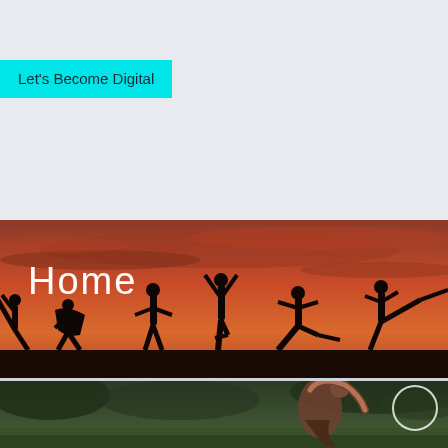Let's Become Digital
[Figure (photo): Silhouettes of multiple people doing yoga poses against a dramatic red-orange sunset sky, with text 'Home' overlaid in white on the left side]
[Figure (photo): Woman doing a yoga side stretch pose outdoors on grass with trees in the background, a circle/ring UI element visible on the right side]